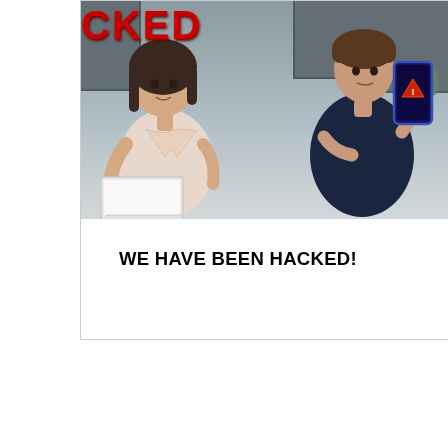[Figure (photo): A video thumbnail showing a man and a woman standing in a kitchen. The woman on the left holds an open laptop. The man on the right holds up a smartphone showing a red warning/alert icon. In the top-left corner, large red bold text reads 'CKED' (part of 'HACKED'). Below the photo, bold black text reads 'WE HAVE BEEN HACKED!'.]
WE HAVE BEEN HACKED!